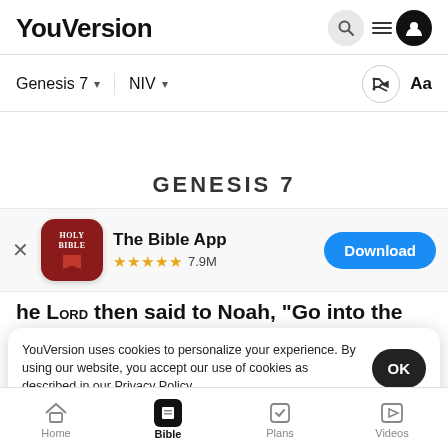YouVersion
Genesis 7   NIV
[Figure (screenshot): GENESIS 7 chapter heading partially visible]
[Figure (infographic): The Bible App app store banner with Holy Bible icon, 5 gold stars, 7.9M ratings, and Download button]
he Lord then said to Noah, "Go into the
YouVersion uses cookies to personalize your experience. By using our website, you accept our use of cookies as described in our Privacy Policy.
you and
you righteous in this generation.   Take with you
Home   Bible   Plans   Videos